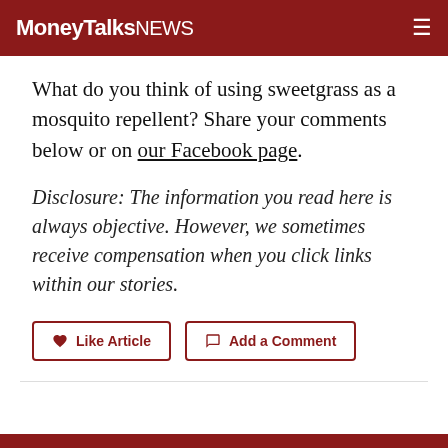MoneyTalksNews
What do you think of using sweetgrass as a mosquito repellent? Share your comments below or on our Facebook page.
Disclosure: The information you read here is always objective. However, we sometimes receive compensation when you click links within our stories.
Like Article   Add a Comment